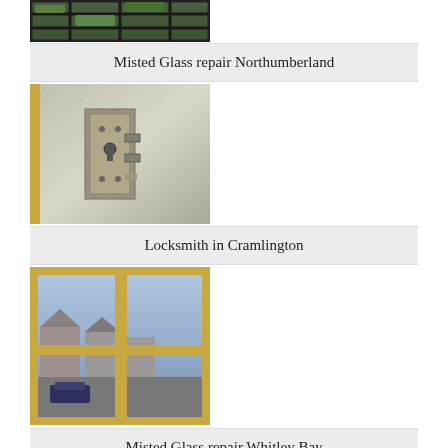[Figure (photo): Top portion of a window with dark metal grille, green foliage visible outside]
Misted Glass repair Northumberland
[Figure (photo): Close-up of a door lock mechanism mounted on frosted/textured glass door panel]
Locksmith in Cramlington
[Figure (photo): Interior view through multi-pane wooden window frames showing street scene below]
Misted Glass repair Whitley Bay